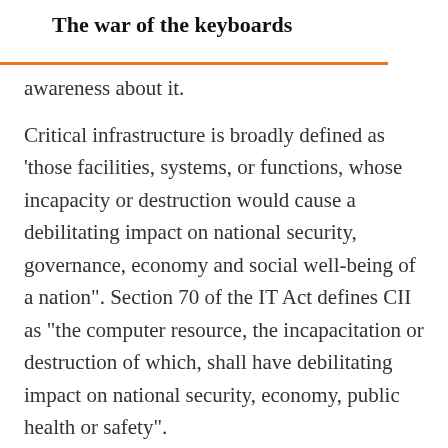The war of the keyboards
awareness about it.
Critical infrastructure is broadly defined as ‘those facilities, systems, or functions, whose incapacity or destruction would cause a debilitating impact on national security, governance, economy and social well-being of a nation”. Section 70 of the IT Act defines CII as “the computer resource, the incapacitation or destruction of which, shall have debilitating impact on national security, economy, public health or safety”.
Dr S. M. Bhaskar, director of the NTRO, said in